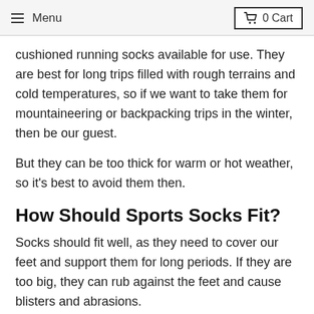Menu  0 Cart
cushioned running socks available for use. They are best for long trips filled with rough terrains and cold temperatures, so if we want to take them for mountaineering or backpacking trips in the winter, then be our guest.
But they can be too thick for warm or hot weather, so it's best to avoid them then.
How Should Sports Socks Fit?
Socks should fit well, as they need to cover our feet and support them for long periods. If they are too big, they can rub against the feet and cause blisters and abrasions.
And if they are too small, they can cause pressure to build on the areas of the feet and can be relief from the